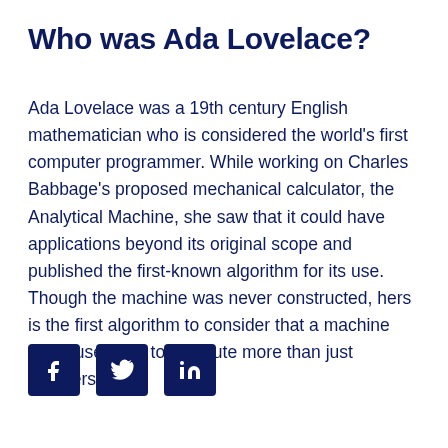Who was Ada Lovelace?
Ada Lovelace was a 19th century English mathematician who is considered the world's first computer programmer. While working on Charles Babbage's proposed mechanical calculator, the Analytical Machine, she saw that it could have applications beyond its original scope and published the first-known algorithm for its use. Though the machine was never constructed, hers is the first algorithm to consider that a machine could use code to compute more than just numbers.
[Figure (infographic): Three dark navy square social media icon buttons: Facebook (f), Twitter (bird), LinkedIn (in)]